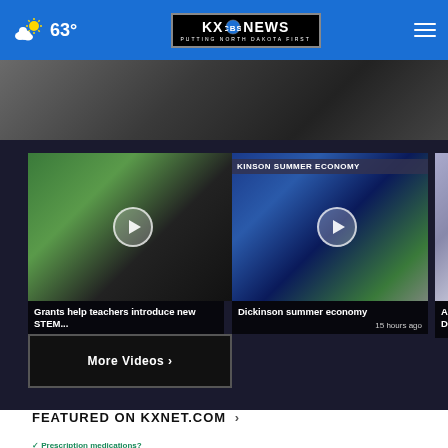63° KX News - Putting North Dakota First
[Figure (screenshot): Hero image showing aerial/overhead view of a room, partially visible]
[Figure (screenshot): Video thumbnail: Grants help teachers introduce new STEM...]
Grants help teachers introduce new STEM... 1 hour ago
[Figure (screenshot): Video thumbnail: Dickinson summer economy - KINSON SUMMER ECONOMY banner]
Dickinson summer economy 15 hours ago
[Figure (screenshot): Partially visible third video thumbnail: AG op Delete...]
More Videos ›
FEATURED ON KXNET.COM ›
Prescription medications?